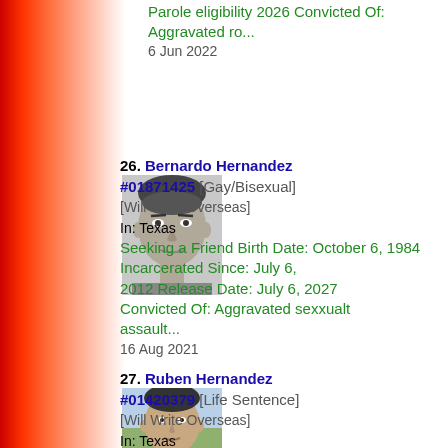Parole eligibility 2026 Convicted Of: Aggravated ro...
6 Jun 2022
26. Bernardo Hernandez #01871425 [Gay/Bisexual] [Will Write Overseas] In: Texas Seeking a Friend Birth Date: October 6, 1984 Incarcerated Since: July 6, 2012 Release Date: July 6, 2027 Convicted Of: Aggravated sexxualt assault...
16 Aug 2021
[Figure (photo): Grayscale mugshot photo of Bernardo Hernandez]
27. Ruben Hernandez #01420379 [Life Sentence] [Will Write Overseas] In: Texas